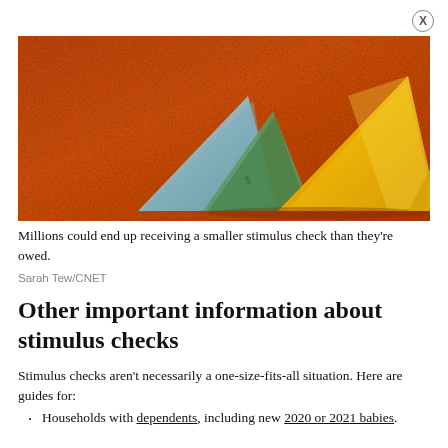[Figure (photo): Photo of gold and silver triangular prisms or paper money folded into triangles on an orange/red grainy background, representing stimulus checks.]
Millions could end up receiving a smaller stimulus check than they're owed.
Sarah Tew/CNET
Other important information about stimulus checks
Stimulus checks aren't necessarily a one-size-fits-all situation. Here are guides for:
Households with dependents, including new 2020 or 2021 babies.